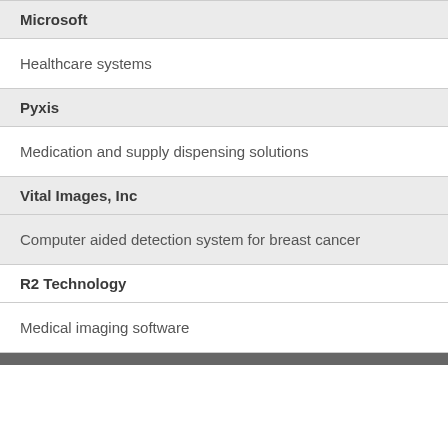| Company | Description |
| --- | --- |
| Microsoft | Healthcare systems |
| Pyxis | Medication and supply dispensing solutions |
| Vital Images, Inc | Computer aided detection system for breast cancer |
| R2 Technology | Medical imaging software |